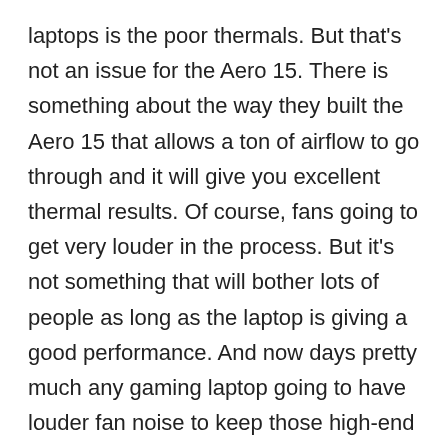laptops is the poor thermals. But that's not an issue for the Aero 15. There is something about the way they built the Aero 15 that allows a ton of airflow to go through and it will give you excellent thermal results. Of course, fans going to get very louder in the process. But it's not something that will bother lots of people as long as the laptop is giving a good performance. And now days pretty much any gaming laptop going to have louder fan noise to keep those high-end components cool.
One of the best things about Aero 15 is the Screen. It has a 4k display as well as a 1080p option with 144Hz. The 1080p screen looks really